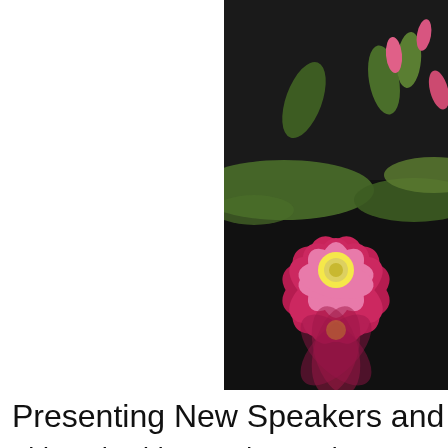[Figure (photo): Close-up photograph of a pink water lily flower with reflection, on dark water with green lily pads, cropped to upper-right portion of page]
Presenting New Speakers and Ne
This 2-day bi-annual event is an e products and information to suppo including health, ecology, commun mind, body and spirit. Over 40 exh health and wellness providers, Ps Keynote speakers, dozens of Wor Intuitive consultants, Energy & li